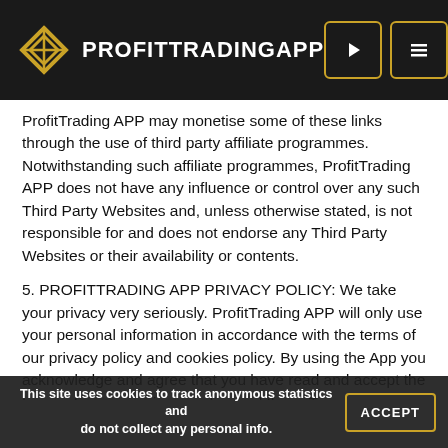ProfitTradingApp
ProfitTrading APP may monetise some of these links through the use of third party affiliate programmes. Notwithstanding such affiliate programmes, ProfitTrading APP does not have any influence or control over any such Third Party Websites and, unless otherwise stated, is not responsible for and does not endorse any Third Party Websites or their availability or contents.
5. PROFITTRADING APP PRIVACY POLICY: We take your privacy very seriously. ProfitTrading APP will only use your personal information in accordance with the terms of our privacy policy and cookies policy. By using the App you acknowledge and agree that you have read and accept the terms of our app privacy policy and these Terms.
This site uses cookies to track anonymous statistics and do not collect any personal info.